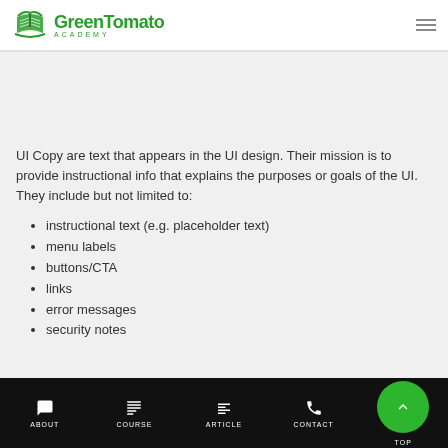GreenTomato ACADEMY
UI Copy are text that appears in the UI design. Their mission is to provide instructional info that explains the purposes or goals of the UI. They include but not limited to:
instructional text (e.g. placeholder text)
menu labels
buttons/CTA
links
error messages
security notes
ABOUT  COURSE  ARTICLE  CONTACT  TOP